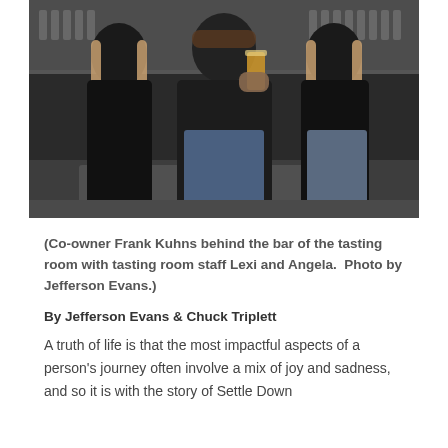[Figure (photo): Three people standing behind a bar in a tasting room. The center person (Co-owner Frank Kuhns) holds up a glass of beer. The two women on either side are tasting room staff Lexi and Angela. All wearing black. Bar equipment and glasses visible in background.]
(Co-owner Frank Kuhns behind the bar of the tasting room with tasting room staff Lexi and Angela.  Photo by Jefferson Evans.)
By Jefferson Evans & Chuck Triplett
A truth of life is that the most impactful aspects of a person's journey often involve a mix of joy and sadness, and so it is with the story of Settle Down